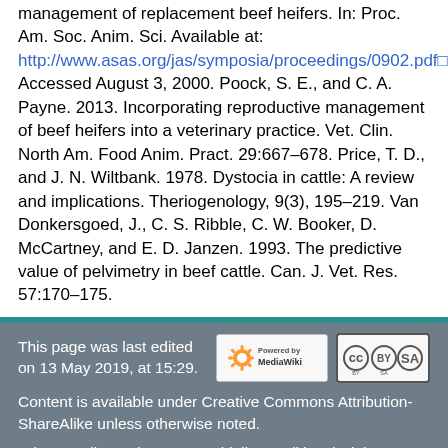management of replacement beef heifers. In: Proc. Am. Soc. Anim. Sci. Available at: http://www.asas.org/jas/symposia/proceedings/0902.pdf. Accessed August 3, 2000. Poock, S. E., and C. A. Payne. 2013. Incorporating reproductive management of beef heifers into a veterinary practice. Vet. Clin. North Am. Food Anim. Pract. 29:667–678. Price, T. D., and J. N. Wiltbank. 1978. Dystocia in cattle: A review and implications. Theriogenology, 9(3), 195–219. Van Donkersgoed, J., C. S. Ribble, C. W. Booker, D. McCartney, and E. D. Janzen. 1993. The predictive value of pelvimetry in beef cattle. Can. J. Vet. Res. 57:170–175.
This page was last edited on 13 May 2019, at 15:29. Content is available under Creative Commons Attribution-ShareAlike unless otherwise noted. Privacy policy   About BIF Guidelines Wiki   Disclaimers